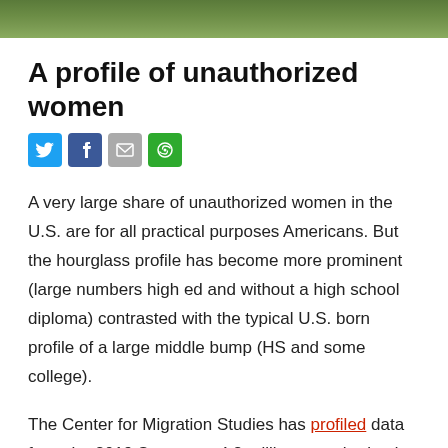[Figure (photo): Blurred green outdoor/nature background strip at top of page]
A profile of unauthorized women
[Figure (infographic): Social media sharing icons: Twitter (blue bird), Facebook (blue f), Email (grey envelope), Share (green circular arrows)]
A very large share of unauthorized women in the U.S. are for all practical purposes Americans. But the hourglass profile has become more prominent (large numbers high ed and without a high school diploma) contrasted with the typical U.S. born profile of a large middle bump (HS and some college).
The Center for Migration Studies has profiled data from the 2019 Survey on 4.8 million unauthorized women. 45% are